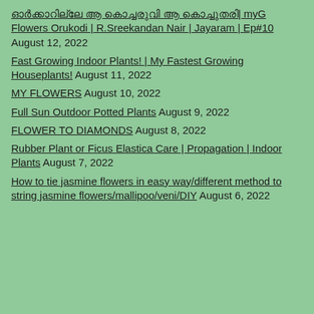ഓർക്കാറില്ലേ ആ കൊച്ചരുവി ആ കൊച്ചുതരി| myG Flowers Orukodi | R.Sreekandan Nair | Jayaram | Ep#10 August 12, 2022
Fast Growing Indoor Plants! | My Fastest Growing Houseplants! August 11, 2022
MY FLOWERS August 10, 2022
Full Sun Outdoor Potted Plants August 9, 2022
FLOWER TO DIAMONDS August 8, 2022
Rubber Plant or Ficus Elastica Care | Propagation | Indoor Plants August 7, 2022
How to tie jasmine flowers in easy way/different method to string jasmine flowers/mallipoo/veni/DIY August 6, 2022